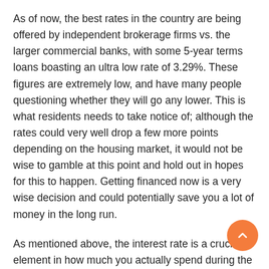As of now, the best rates in the country are being offered by independent brokerage firms vs. the larger commercial banks, with some 5-year terms loans boasting an ultra low rate of 3.29%. These figures are extremely low, and have many people questioning whether they will go any lower. This is what residents needs to take notice of; although the rates could very well drop a few more points depending on the housing market, it would not be wise to gamble at this point and hold out in hopes for this to happen. Getting financed now is a very wise decision and could potentially save you a lot of money in the long run.
As mentioned above, the interest rate is a crucial element in how much you actually spend during the process of acquiring a home, but there are other aspects...